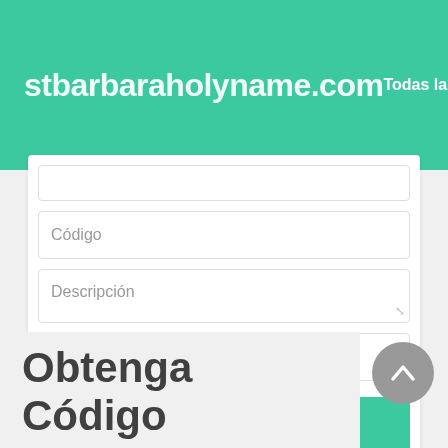stbarbaraholyname.com   Todas las Tiendas
[Figure (screenshot): Web form with fields: Código, Descripción, Vencimiento, and an Enviar button]
Obtenga Código Descuento, Código Promocional